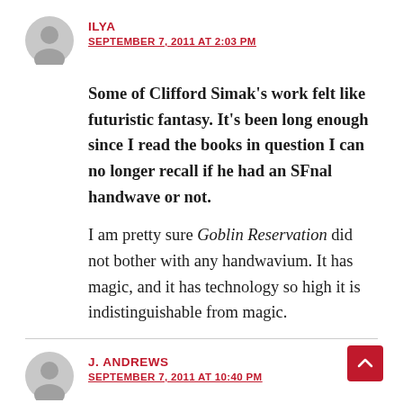ILYA
SEPTEMBER 7, 2011 AT 2:03 PM
Some of Clifford Simak's work felt like futuristic fantasy. It's been long enough since I read the books in question I can no longer recall if he had an SFnal handwave or not.
I am pretty sure Goblin Reservation did not bother with any handwavium. It has magic, and it has technology so high it is indistinguishable from magic.
J. ANDREWS
SEPTEMBER 7, 2011 AT 10:40 PM